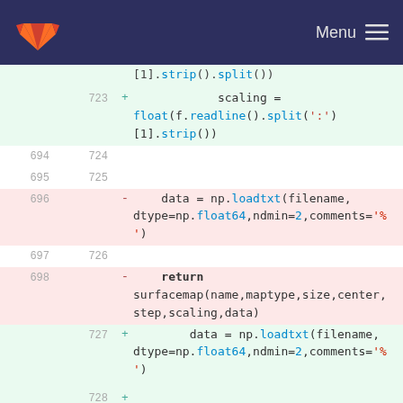GitLab Menu
[1].strip().split())
723  +               scaling =
float(f.readline().split(':')
[1].strip())
694  724
695  725
696  -      data = np.loadtxt(filename,
dtype=np.float64,ndmin=2,comments='%
')
697  726
698  -      return
surfacemap(name,maptype,size,center,
step,scaling,data)
727  +          data = np.loadtxt(filename,
dtype=np.float64,ndmin=2,comments='%
')
728  +
729  +
730  +     # Converts raw zygo and ligo
mirror maps to the finesse